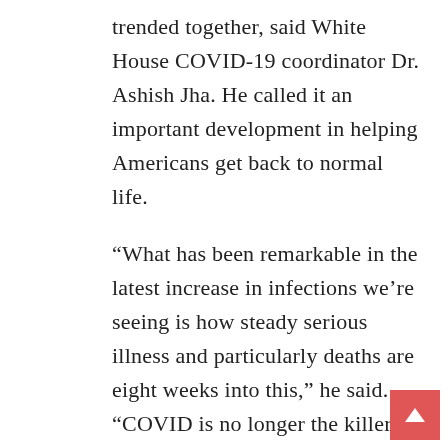trended together, said White House COVID-19 coordinator Dr. Ashish Jha. He called it an important development in helping Americans get back to normal life.
“What has been remarkable in the latest increase in infections we’re seeing is how steady serious illness and particularly deaths are eight weeks into this,” he said. “COVID is no longer the killer that it was even a year ago.”